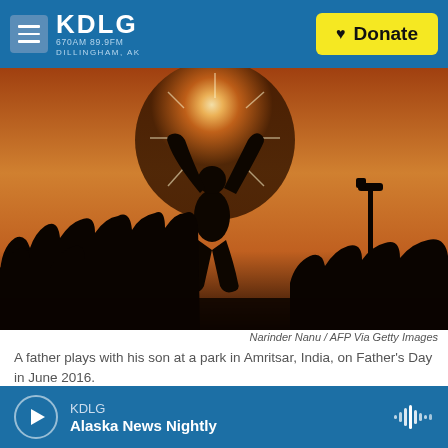KDLG 670AM 89.9FM DILLINGHAM, AK | Donate
[Figure (photo): Silhouette of a father playing with his son at a park against a warm sunset sky with trees in the background, Amritsar, India]
Narinder Nanu / AFP Via Getty Images
A father plays with his son at a park in Amritsar, India, on Father's Day in June 2016.
With the shift to working from home giving dads the opportunity to spend more time with their children, the challenge of striking a balance between work
KDLG | Alaska News Nightly